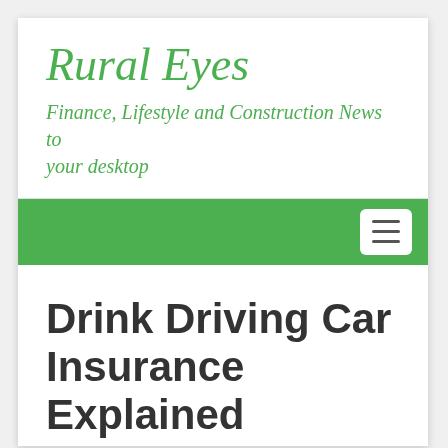Rural Eyes
Finance, Lifestyle and Construction News to your desktop
Drink Driving Car Insurance Explained